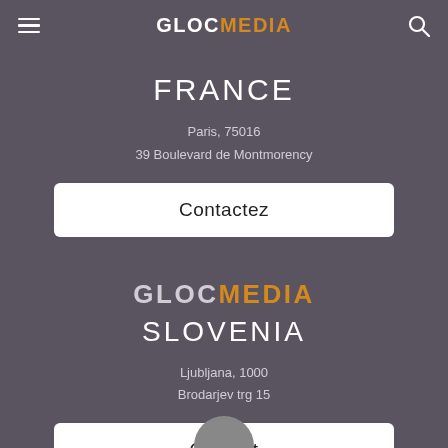GLOCMEDIA
FRANCE
Paris, 75016
39 Boulevard de Montmorency
Contactez
GLOCMEDIA
SLOVENIA
Ljubljana, 1000
Brodarjev trg 15
Contact